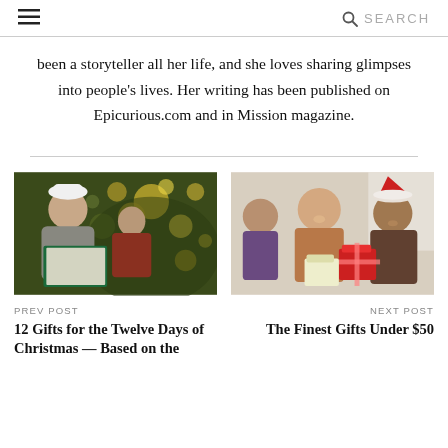≡  🔍 SEARCH
been a storyteller all her life, and she loves sharing glimpses into people's lives. Her writing has been published on Epicurious.com and in Mission magazine.
[Figure (photo): Elderly man and child reading a book together with Christmas tree bokeh lights in background]
PREV POST
12 Gifts for the Twelve Days of Christmas — Based on the
[Figure (photo): Group of people smiling and exchanging wrapped Christmas gifts, man wearing a Santa hat]
NEXT POST
The Finest Gifts Under $50